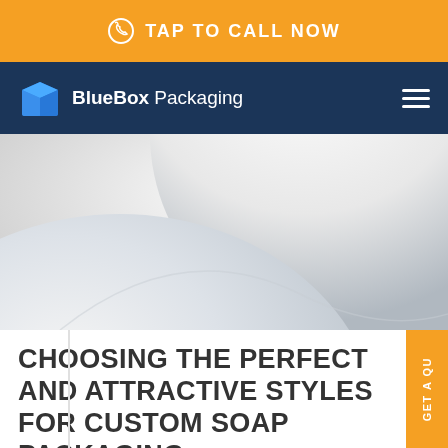TAP TO CALL NOW
BlueBox Packaging
[Figure (photo): Close-up product/soap packaging image showing white glossy spherical or curved surface with gradient lighting against light gray background]
CHOOSING THE PERFECT AND ATTRACTIVE STYLES FOR CUSTOM SOAP PACKAGING